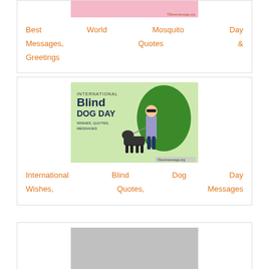[Figure (illustration): Partial image of Best World Mosquito Day card with pink background and bestmessage.org watermark]
Best World Mosquito Day Messages, Quotes & Greetings
[Figure (illustration): International Blind Dog Day card: green background with cartoon person and dog, text reads INTERNATIONAL Blind DOG DAY WISHES, QUOTES, MESSAGES, bestmessage.org watermark]
International Blind Dog Day Wishes, Quotes, Messages
[Figure (illustration): Gray placeholder image for World Entrepreneurs Day card]
World Entrepreneurs' Day